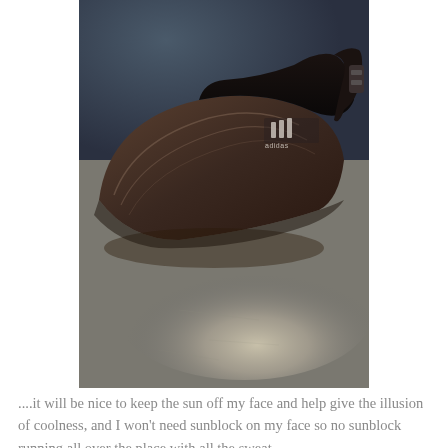[Figure (photo): An Adidas brown/dark sun visor hat lying on a grey metallic surface, photographed from above at an angle. The visor has the Adidas logo on the side.]
....it will be nice to keep the sun off my face and help give the illusion of coolness, and I won't need sunblock on my face so no sunblock running all over the place with all the sweat.